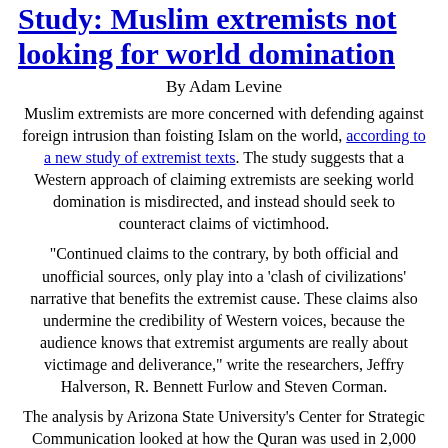Study: Muslim extremists not looking for world domination
By Adam Levine
Muslim extremists are more concerned with defending against foreign intrusion than foisting Islam on the world, according to a new study of extremist texts. The study suggests that a Western approach of claiming extremists are seeking world domination is misdirected, and instead should seek to counteract claims of victimhood.
"Continued claims to the contrary, by both official and unofficial sources, only play into a 'clash of civilizations' narrative that benefits the extremist cause. These claims also undermine the credibility of Western voices, because the audience knows that extremist arguments are really about victimage and deliverance," write the researchers, Jeffry Halverson, R. Bennett Furlow and Steven Corman.
The analysis by Arizona State University's Center for Strategic Communication looked at how the Quran was used in 2,000 propoganda items from 1998 to 2011, though the majority were from post-2007, that emanated mostly from the Middle East and